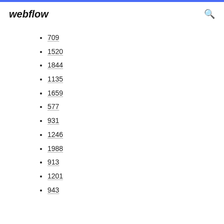webflow
709
1520
1844
1135
1659
577
931
1246
1988
913
1201
943